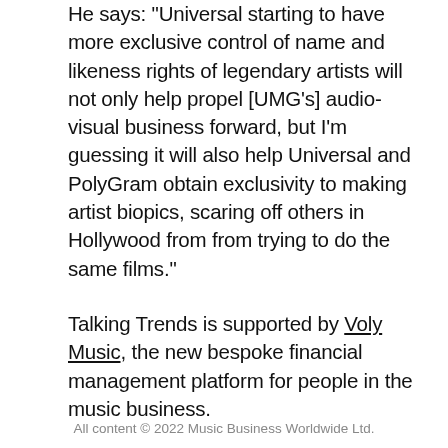He says: "Universal starting to have more exclusive control of name and likeness rights of legendary artists will not only help propel [UMG's] audio-visual business forward, but I'm guessing it will also help Universal and PolyGram obtain exclusivity to making artist biopics, scaring off others in Hollywood from from trying to do the same films."
Talking Trends is supported by Voly Music, the new bespoke financial management platform for people in the music business.
All content © 2022 Music Business Worldwide Ltd.